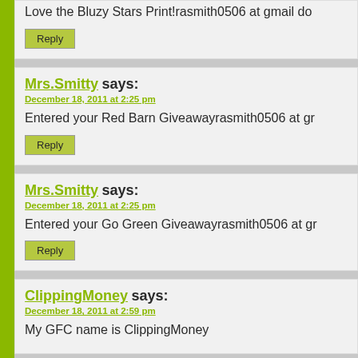Love the Bluzy Stars Print!rasmith0506 at gmail do
Reply
Mrs.Smitty says:
December 18, 2011 at 2:25 pm
Entered your Red Barn Giveawayrasmith0506 at gr
Reply
Mrs.Smitty says:
December 18, 2011 at 2:25 pm
Entered your Go Green Giveawayrasmith0506 at gr
Reply
ClippingMoney says:
December 18, 2011 at 2:59 pm
My GFC name is ClippingMoney